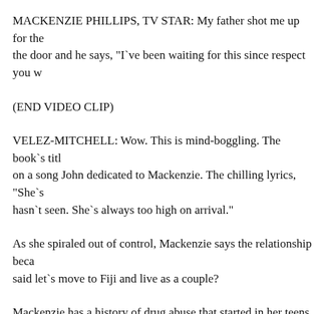MACKENZIE PHILLIPS, TV STAR: My father shot me up for the door and he says, "I`ve been waiting for this since respect you w
(END VIDEO CLIP)
VELEZ-MITCHELL: Wow. This is mind-boggling. The book`s titl on a song John dedicated to Mackenzie. The chilling lyrics, "She`s hasn`t seen. She`s always too high on arrival."
As she spiraled out of control, Mackenzie says the relationship beca said let`s move to Fiji and live as a couple?
Mackenzie has a history of drug abuse that started in her teens. She take a guess how many times? Ten times, people. Did her father`s a addiction?